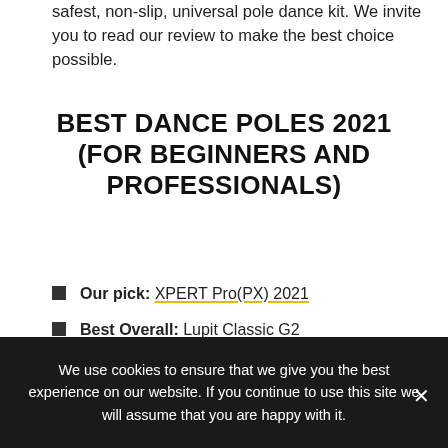safest, non-slip, universal pole dance kit. We invite you to read our review to make the best choice possible.
BEST DANCE POLES 2021 (FOR BEGINNERS AND PROFESSIONALS)
Our pick: XPERT Pro(PX) 2021
Best Overall: Lupit Classic G2
Best Professional Stripper Pole:
We use cookies to ensure that we give you the best experience on our website. If you continue to use this site we will assume that you are happy with it.